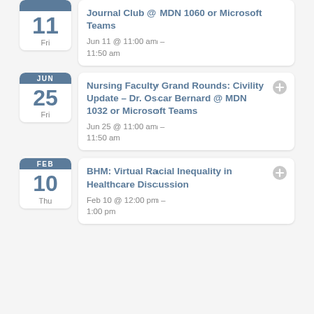Journal Club @ MDN 1060 or Microsoft Teams — Jun 11 @ 11:00 am – 11:50 am — Fri, Jun 11
Nursing Faculty Grand Rounds: Civility Update – Dr. Oscar Bernard @ MDN 1032 or Microsoft Teams — Jun 25 @ 11:00 am – 11:50 am — Fri, Jun 25
BHM: Virtual Racial Inequality in Healthcare Discussion — Feb 10 @ 12:00 pm – 1:00 pm — Thu, Feb 10